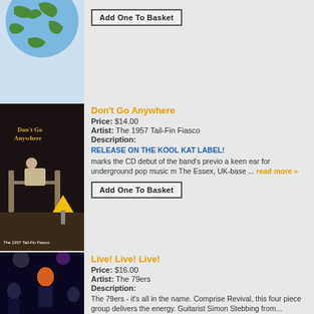[Figure (photo): Globe/earth painting album cover, partially visible at top]
Add One To Basket
[Figure (photo): Don't Go Anywhere album cover - The 1957 Tail-Fin Fiasco. Man in lounge chair with hazard sign.]
Don't Go Anywhere
Price: $14.00
Artist: The 1957 Tail-Fin Fiasco
Description:
RELEASE ON THE KOOL KAT LABEL! marks the CD debut of the band's previous a keen ear for underground pop music m... The Essex, UK-base ... read more »
Add One To Basket
[Figure (photo): Live! Live! Live! album cover - The 79ers. Concert performance photo.]
Live! Live! Live!
Price: $16.00
Artist: The 79ers
Description:
The 79ers - it's all in the name. Comprise Revival, this four piece group delivers the energy. Guitarist Simon Stebbing from...